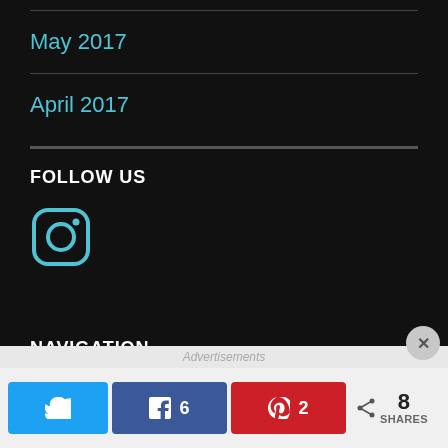May 2017
April 2017
FOLLOW US
[Figure (logo): Instagram icon in cyan/blue outline style]
NAVIGATION
Home
Advertisements  Twitter share  Facebook 6  Pinterest 2  8 SHARES